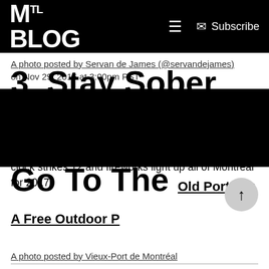MTL Blog | Subscribe
A photo posted by Servan de James (@servandejames) on Nov 29, 2016 at 3:00pm PST
Open All Night
This has to be the most romantic way you could celebrate the New Year. Take that special person to the top of Mont Royal and over look the city until the clock strikes 12 and fireworks light up all of Montreal for 2017.
3. Stay Sober On NYE 2017 And Go To The Old Port For A Free Outdoor P
A photo posted by Vieux-Port de Montréal